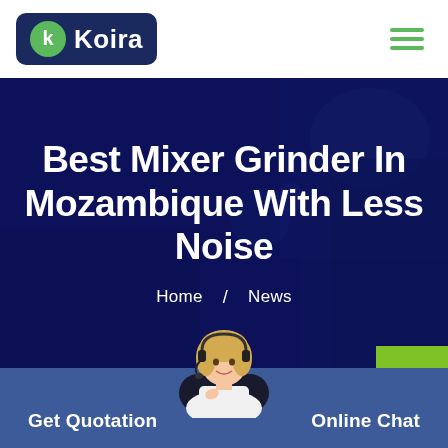[Figure (logo): Koira company logo — dark navy rounded rectangle with white letter K in a green circle and white text 'Koira']
[Figure (other): Hamburger menu icon — three green horizontal lines]
[Figure (photo): Dark blue hero background showing industrial machinery/grinder equipment with a dark overlay]
Best Mixer Grinder In Mozambique With Less Noise
Home / News
[Figure (photo): Customer service woman with headset smiling, positioned at bottom center]
Get Quotation
Online Chat